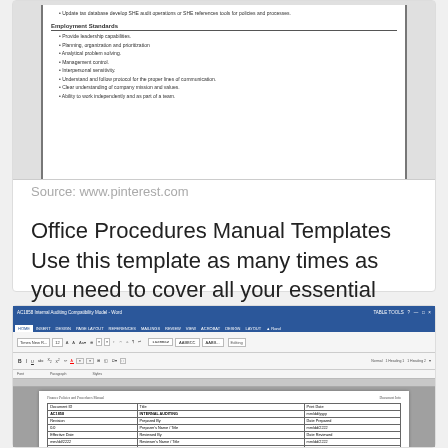[Figure (screenshot): Cropped document page showing Employment Standards section with bulleted list items including: Provide leadership capabilities, Planning, organization and prioritization, Analytical problem solving, Management control, Interpersonal sensitivity, Understand and follow protocol for the proper lines of communication, Clear understanding of company mission and values, Ability to work independently and as part of a team.]
Source: www.pinterest.com
Office Procedures Manual Templates Use this template as many times as you need to cover all your essential duties.
[Figure (screenshot): Screenshot of Microsoft Word showing AC1858 Internal Auditing Compatibility Model document with ribbon toolbar and a document table containing fields for Document ID (AC1858), Title (INTERNAL AUDITING), Print Date (mm/dd/yyyy), Revision, Prepared By, Date Prepared (mm/dd/yyyy), Effective Date (mm/dd/yyyy), Reviewed By, Reviewer's Name/Title, Date Reviewed (mm/dd/yyyy), Approved By, Final Approver's Name/Title, Date Approved (mm/dd/yyyy), and Standard: IIA International Standards for the Professional Practice of Internal Auditing.]